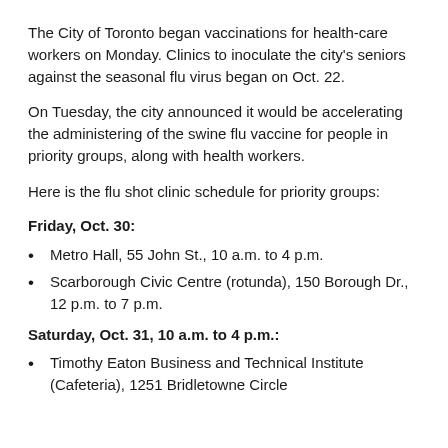The City of Toronto began vaccinations for health-care workers on Monday. Clinics to inoculate the city's seniors against the seasonal flu virus began on Oct. 22.
On Tuesday, the city announced it would be accelerating the administering of the swine flu vaccine for people in priority groups, along with health workers.
Here is the flu shot clinic schedule for priority groups:
Friday, Oct. 30:
Metro Hall, 55 John St., 10 a.m. to 4 p.m.
Scarborough Civic Centre (rotunda), 150 Borough Dr., 12 p.m. to 7 p.m.
Saturday, Oct. 31, 10 a.m. to 4 p.m.:
Timothy Eaton Business and Technical Institute (Cafeteria), 1251 Bridletowne Circle